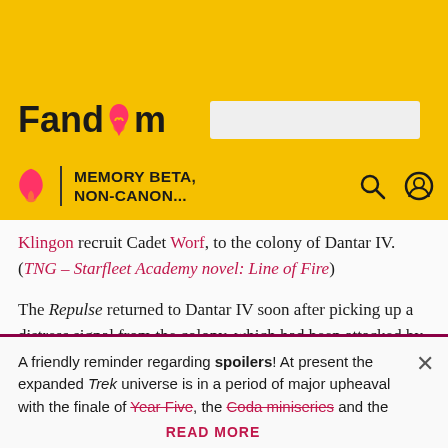Fandom | MEMORY BETA, NON-CANON...
Klingon recruit Cadet Worf, to the colony of Dantar IV. (TNG – Starfleet Academy novel: Line of Fire)
The Repulse returned to Dantar IV soon after picking up a distress signal from the colony, which had been attacked by the Brikar. From there, the ship journeyed to Starbase 3. (TNG – Starfleet Academy novel: Survival)
A friendly reminder regarding spoilers! At present the expanded Trek universe is in a period of major upheaval with the finale of Year Five, the Coda miniseries and the
READ MORE